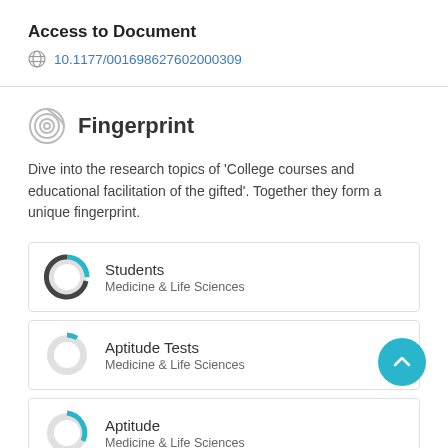Access to Document
10.1177/001698627602000309
Fingerprint
Dive into the research topics of 'College courses and educational facilitation of the gifted'. Together they form a unique fingerprint.
Students
Medicine & Life Sciences
Aptitude Tests
Medicine & Life Sciences
Aptitude
Medicine & Life Sciences